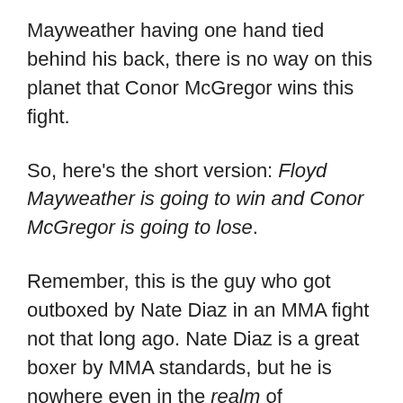Mayweather having one hand tied behind his back, there is no way on this planet that Conor McGregor wins this fight.
So, here's the short version: Floyd Mayweather is going to win and Conor McGregor is going to lose.
Remember, this is the guy who got outboxed by Nate Diaz in an MMA fight not that long ago. Nate Diaz is a great boxer by MMA standards, but he is nowhere even in the realm of Mayweather.